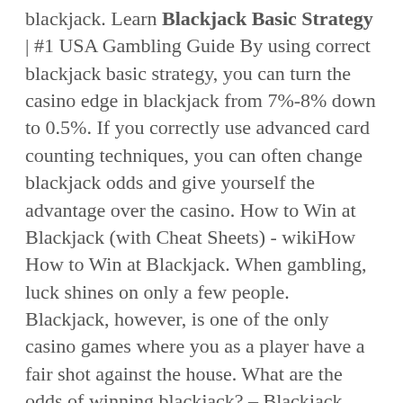blackjack. Learn Blackjack Basic Strategy | #1 USA Gambling Guide By using correct blackjack basic strategy, you can turn the casino edge in blackjack from 7%-8% down to 0.5%. If you correctly use advanced card counting techniques, you can often change blackjack odds and give yourself the advantage over the casino. How to Win at Blackjack (with Cheat Sheets) - wikiHow How to Win at Blackjack. When gambling, luck shines on only a few people. Blackjack, however, is one of the only casino games where you as a player have a fair shot against the house. What are the odds of winning blackjack? – Blackjack Strategy The basic blackjack, intermediate, and advanced blackjack strategies described in the blackjack strategy section of this site can further impact the odds. By using blackjack basic strategy consistently, the player can decrease the